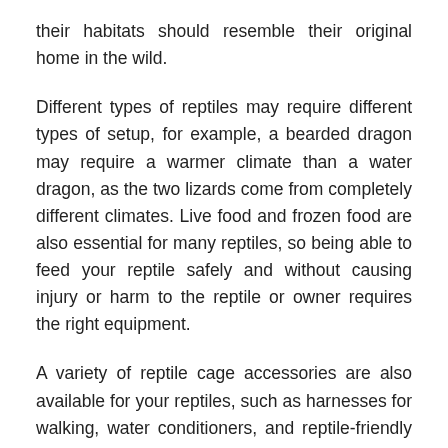their habitats should resemble their original home in the wild.
Different types of reptiles may require different types of setup, for example, a bearded dragon may require a warmer climate than a water dragon, as the two lizards come from completely different climates. Live food and frozen food are also essential for many reptiles, so being able to feed your reptile safely and without causing injury or harm to the reptile or owner requires the right equipment.
A variety of reptile cage accessories are also available for your reptiles, such as harnesses for walking, water conditioners, and reptile-friendly cleaners so you can clean your